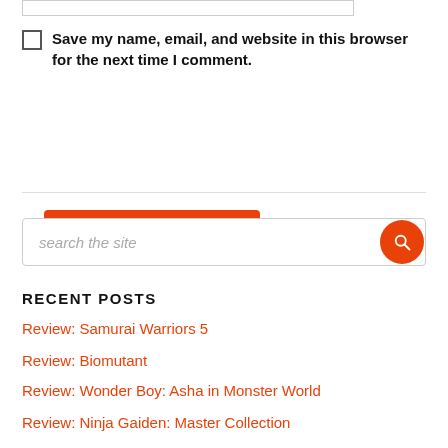Save my name, email, and website in this browser for the next time I comment.
Post Comment
search the site
RECENT POSTS
Review: Samurai Warriors 5
Review: Biomutant
Review: Wonder Boy: Asha in Monster World
Review: Ninja Gaiden: Master Collection